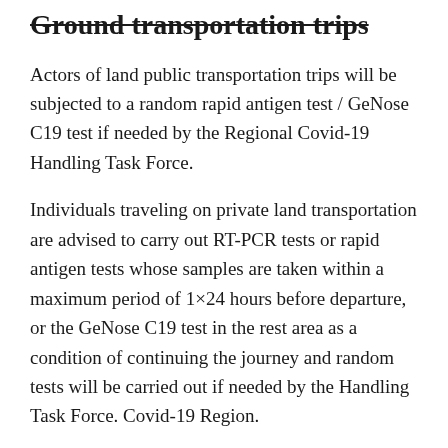Ground transportation trips
Actors of land public transportation trips will be subjected to a random rapid antigen test / GeNose C19 test if needed by the Regional Covid-19 Handling Task Force.
Individuals traveling on private land transportation are advised to carry out RT-PCR tests or rapid antigen tests whose samples are taken within a maximum period of 1×24 hours before departure, or the GeNose C19 test in the rest area as a condition of continuing the journey and random tests will be carried out if needed by the Handling Task Force. Covid-19 Region.
Filling e-HAC